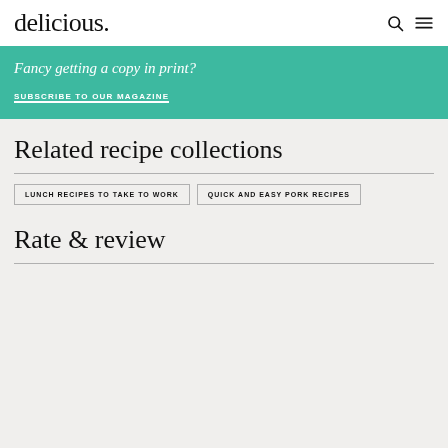delicious.
Fancy getting a copy in print?
SUBSCRIBE TO OUR MAGAZINE
Related recipe collections
LUNCH RECIPES TO TAKE TO WORK
QUICK AND EASY PORK RECIPES
Rate & review